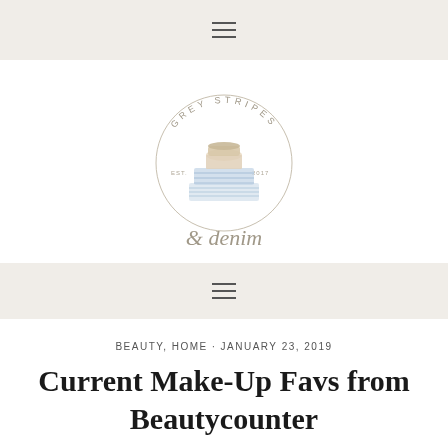≡
[Figure (logo): Grey Stripes & Denim blog logo — circular text reading GREY STRIPES with watercolor illustration of folded striped fabric/towels in blues and whites, and cursive text below reading '& denim']
≡
BEAUTY, HOME · JANUARY 23, 2019
Current Make-Up Favs from Beautycounter
[Figure (photo): Partial photo showing textured fabric or knit material in cream, beige, and grey tones at the bottom of the page]